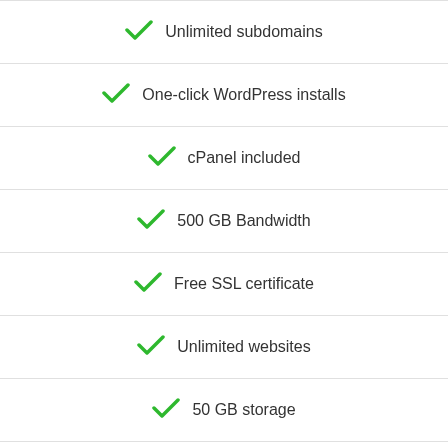Unlimited subdomains
One-click WordPress installs
cPanel included
500 GB Bandwidth
Free SSL certificate
Unlimited websites
50 GB storage
Standard Performance
100 databases